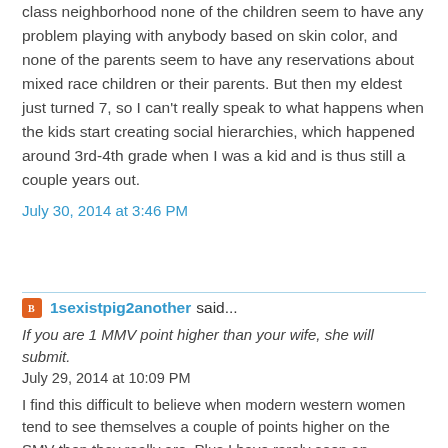class neighborhood none of the children seem to have any problem playing with anybody based on skin color, and none of the parents seem to have any reservations about mixed race children or their parents. But then my eldest just turned 7, so I can't really speak to what happens when the kids start creating social hierarchies, which happened around 3rd-4th grade when I was a kid and is thus still a couple years out.
July 30, 2014 at 3:46 PM
1sexistpig2another said...
If you are 1 MMV point higher than your wife, she will submit.
July 29, 2014 at 10:09 PM
I find this difficult to believe when modern western women tend to see themselves a couple of points higher on the SMV then they really are. Plus I have rarely seen an American woman submit regardless of her SMV. I know too many couples where the guy is definitely higher on the